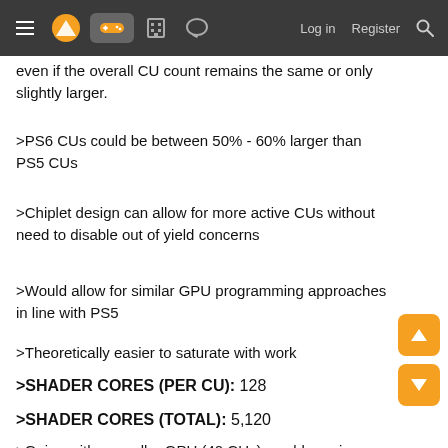≡ [logo] [gamepad] [building] [chat]   Log in   Register   🔍
even if the overall CU count remains the same or only slightly larger.
>PS6 CUs could be between 50% - 60% larger than PS5 CUs
>Chiplet design can allow for more active CUs without need to disable out of yield concerns
>Would allow for similar GPU programming approaches in line with PS5
>Theoretically easier to saturate with work
>SHADER CORES (PER CU): 128
>SHADER CORES (TOTAL): 5,120
>Going with a smaller GPU (40 CUs) would require